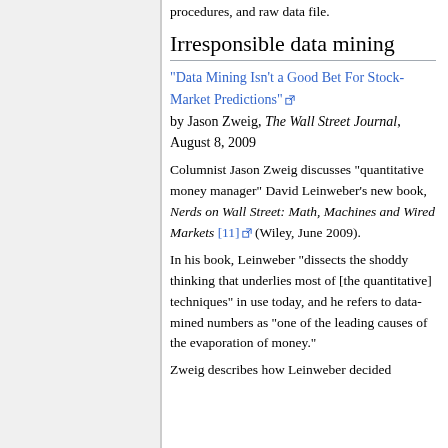procedures, and raw data file.
Irresponsible data mining
"Data Mining Isn't a Good Bet For Stock-Market Predictions" [external link] by Jason Zweig, The Wall Street Journal, August 8, 2009
Columnist Jason Zweig discusses "quantitative money manager" David Leinweber's new book, Nerds on Wall Street: Math, Machines and Wired Markets [11] (Wiley, June 2009).
In his book, Leinweber “dissects the shoddy thinking that underlies most of [the quantitative] techniques” in use today, and he refers to data-mined numbers as “one of the leading causes of the evaporation of money.”
Zweig describes how Leinweber decided